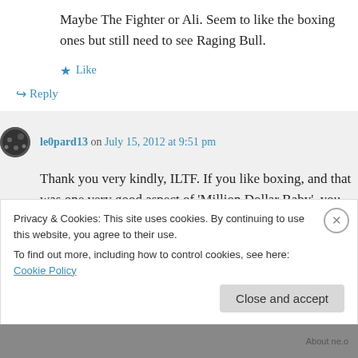Maybe The Fighter or Ali. Seem to like the boxing ones but still need to see Raging Bull.
★ Like
↪ Reply
le0pard13 on July 15, 2012 at 9:51 pm
Thank you very kindly, ILTF. If you like boxing, and that was one very good aspect of 'Million Dollar Baby', you should check
Privacy & Cookies: This site uses cookies. By continuing to use this website, you agree to their use. To find out more, including how to control cookies, see here: Cookie Policy
Close and accept